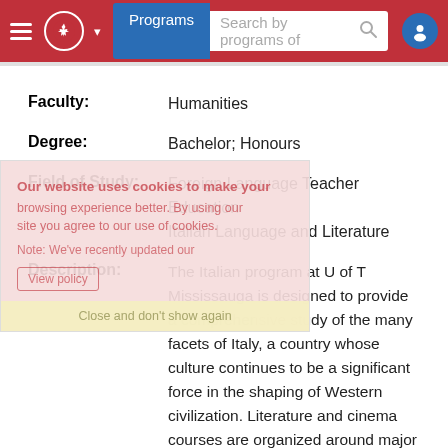Programs | Search by programs of
Faculty: Humanities
Degree: Bachelor; Honours
Field of Study: Foreign Language Teacher Education
Italian Language and Literature
Description: The Italian program at U of T Mississauga is designed to provide a comprehensive study of the many facets of Italy, a country whose culture continues to be a significant force in the shaping of Western civilization. Literature and cinema courses are organized around major figures, movements or genres, as well as Italian life and civilization. Language is studied from all points of view -- practical, stylistic, philological and historical -- at all levels